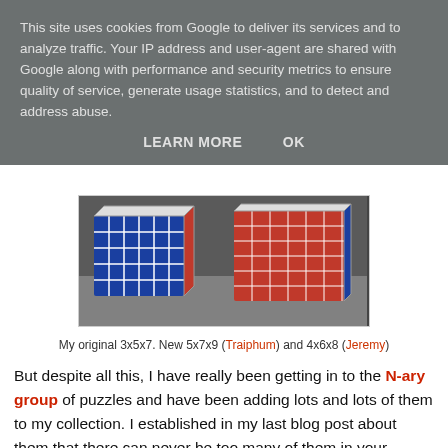This site uses cookies from Google to deliver its services and to analyze traffic. Your IP address and user-agent are shared with Google along with performance and security metrics to ensure quality of service, generate usage statistics, and to detect and address abuse.
LEARN MORE    OK
[Figure (photo): Photo of Rubik's cube variants including a 3x5x7, 5x7x9 (Traiphum) and 4x6x8 (Jeremy) on a granite surface]
My original 3x5x7. New 5x7x9 (Traiphum) and 4x6x8 (Jeremy)
But despite all this, I have really been getting in to the N-ary group of puzzles and have been adding lots and lots of them to my collection. I established in my last blog post about them that there can never be too many of them in your collection and my aim would be to get a set as good as that of Dr Goetz Schwandtner. I am still a long way away from that but am certainly adding to my collection at an alarming rate - please don't anyone tell the present Mrs S how much they cost! No one would even find my body!